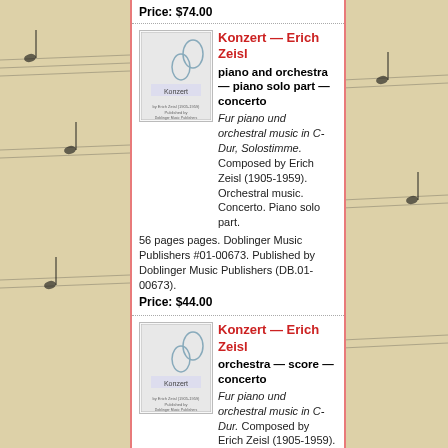Price: $74.00
Konzert — Erich Zeisl
piano and orchestra — piano solo part — concerto
Fur piano und orchestral music in C-Dur, Solostimme. Composed by Erich Zeisl (1905-1959). Orchestral music. Concerto. Piano solo part. 56 pages pages. Doblinger Music Publishers #01-00673. Published by Doblinger Music Publishers (DB.01-00673).
Price: $44.00
Konzert — Erich Zeisl
orchestra — score — concerto
Fur piano und orchestral music in C-Dur. Composed by Erich Zeisl (1905-1959). Orchestral music. Concerto. Score. 180 pages pages. Doblinger Music Publishers #Stp-00745. Published by Doblinger Music Publishers (DB.STP-00745).
Price: $80.00
Suite (pianotriosuite) — Erich Zeisl
violin, cello and piano — — chamber music